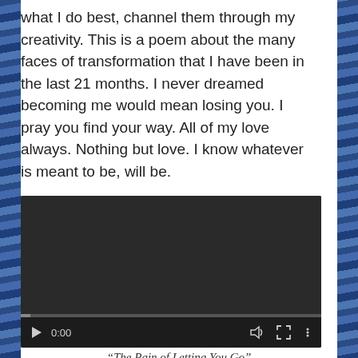what I do best, channel them through my creativity. This is a poem about the many faces of transformation that I have been in the last 21 months. I never dreamed becoming me would mean losing you. I pray you find your way. All of my love always. Nothing but love. I know whatever is meant to be, will be.
[Figure (screenshot): An embedded video player with dark background, play button, timestamp showing 0:00, volume icon, fullscreen icon, more options icon, and a progress bar at the bottom.]
“The Pain of Letting You Go”